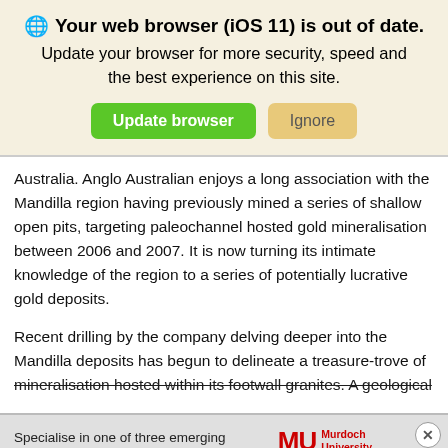[Figure (screenshot): Browser update notification banner with globe icon, bold warning text 'Your web browser (iOS 11) is out of date.', subtitle 'Update your browser for more security, speed and the best experience on this site.', green 'Update browser' button, and tan 'Ignore' button]
Australia. Anglo Australian enjoys a long association with the Mandilla region having previously mined a series of shallow open pits, targeting paleochannel hosted gold mineralisation between 2006 and 2007. It is now turning its intimate knowledge of the region to a series of potentially lucrative gold deposits.
Recent drilling by the company delving deeper into the Mandilla deposits has begun to delineate a treasure-trove of mineralisation hosted within its footwall granites. A geological
[Figure (screenshot): Advertisement for Murdoch University Master of Engineering Practice. Features MU red logo, text 'Specialise in one of three emerging areas of Engineering with a new Master of Engineering Practice', black oval 'Apply Now' button, close X button, and grey circular 'Top' navigation button.]